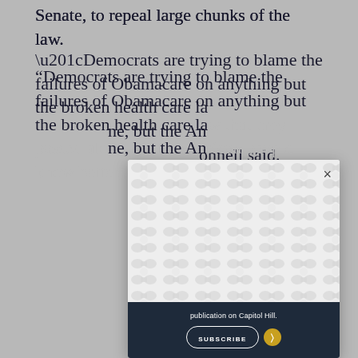Senate, to repeal large chunks of the law.
“Democrats are trying to blame the failures of Obamacare on anything but the broken health care law that they passed alone, but the American people know better,” McConnell said.
[Figure (screenshot): Modal advertisement overlay with decorative pattern background, close button (x), dark navy footer bar with text 'publication on Capitol Hill.' and a SUBSCRIBE button with gold arrow button.]